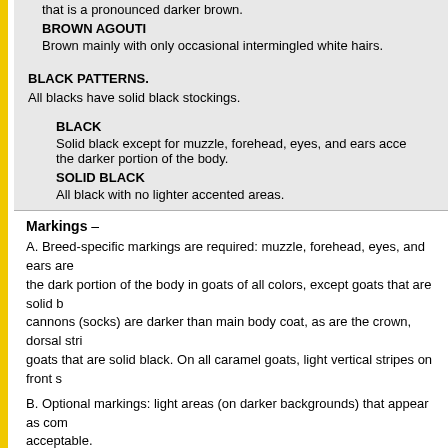that is a pronounced darker brown.
BROWN AGOUTI — Brown mainly with only occasional intermingled white hairs.
BLACK PATTERNS.
All blacks have solid black stockings.
BLACK — Solid black except for muzzle, forehead, eyes, and ears accented lighter than the darker portion of the body.
SOLID BLACK — All black with no lighter accented areas.
Markings –
A. Breed-specific markings are required: muzzle, forehead, eyes, and ears are lighter than the dark portion of the body in goats of all colors, except goats that are solid black. The cannons (socks) are darker than main body coat, as are the crown, dorsal stripe, and in goats that are solid black. On all caramel goats, light vertical stripes on front s
B. Optional markings: light areas (on darker backgrounds) that appear as common and are acceptable.
Source: NPGA's PYGMY GOAT BASIC OWNERS MANU...